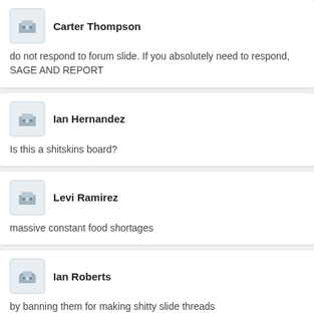Carter Thompson
do not respond to forum slide. If you absolutely need to respond, SAGE AND REPORT
Ian Hernandez
Is this a shitskins board?
Levi Ramirez
massive constant food shortages
Ian Roberts
by banning them for making shitty slide threads
Juan Harris